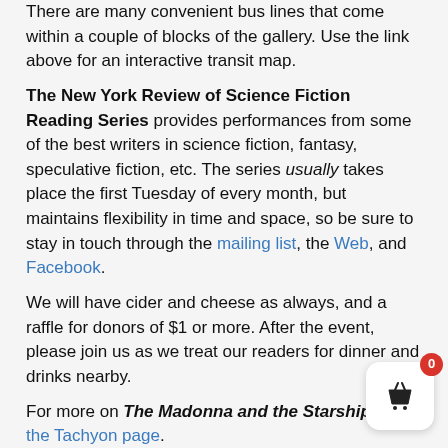There are many convenient bus lines that come within a couple of blocks of the gallery.  Use the link above for an interactive transit map.
The New York Review of Science Fiction Reading Series provides performances from some of the best writers in science fiction, fantasy, speculative fiction, etc.  The series usually takes place the first Tuesday of every month, but maintains flexibility in time and space, so be sure to stay in touch through the mailing list, the Web, and Facebook.
We will have cider and cheese as always, and a raffle for donors of $1 or more.  After the event, please join us as we treat our readers for dinner and drinks nearby.
For more on The Madonna and the Starship, visit the Tachyon page.
Cover and design by Elizabeth Story.